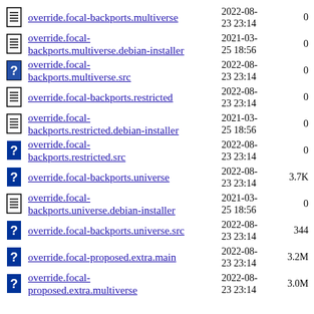override.focal-backports.multiverse  2022-08-23 23:14  0
override.focal-backports.multiverse.debian-installer  2021-03-25 18:56  0
override.focal-backports.multiverse.src  2022-08-23 23:14  0
override.focal-backports.restricted  2022-08-23 23:14  0
override.focal-backports.restricted.debian-installer  2021-03-25 18:56  0
override.focal-backports.restricted.src  2022-08-23 23:14  0
override.focal-backports.universe  2022-08-23 23:14  3.7K
override.focal-backports.universe.debian-installer  2021-03-25 18:56  0
override.focal-backports.universe.src  2022-08-23 23:14  344
override.focal-proposed.extra.main  2022-08-23 23:14  3.2M
override.focal-proposed.extra.multiverse  2022-08-23 23:14  3.0M